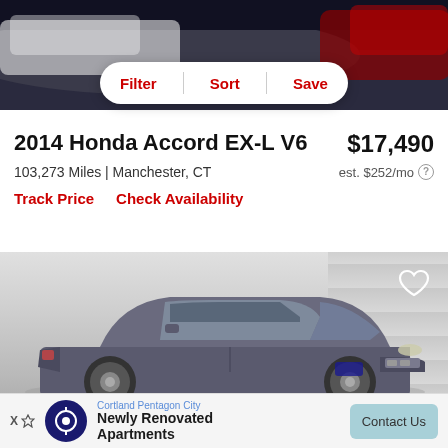[Figure (photo): Top portion of a car photo, showing front end in dark showroom setting]
Filter  Sort  Save
2014 Honda Accord EX-L V6
$17,490
103,273 Miles | Manchester, CT
est. $252/mo
Track Price   Check Availability
[Figure (photo): Gray 2014 Honda Accord sedan parked in front of a garage door, side/front 3/4 view]
Cortland Pentagon City Newly Renovated Apartments  Contact Us